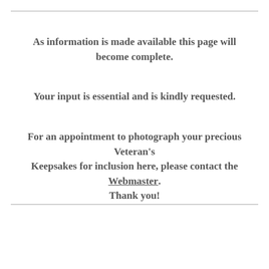As information is made available this page will become complete.
Your input is essential and is kindly requested.
For an appointment to photograph your precious Veteran's Keepsakes for inclusion here, please contact the Webmaster. Thank you!